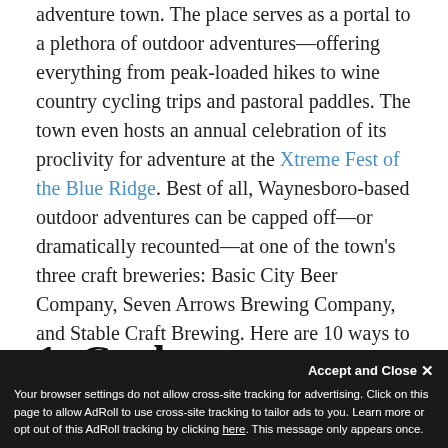adventure town. The place serves as a portal to a plethora of outdoor adventures—offering everything from peak-loaded hikes to wine country cycling trips and pastoral paddles. The town even hosts an annual celebration of its proclivity for adventure at the Xtreme Fest of the Blue Ridge. Best of all, Waynesboro-based outdoor adventures can be capped off—or dramatically recounted—at one of the town's three craft breweries: Basic City Beer Company, Seven Arrows Brewing Company, and Stable Craft Brewing. Here are 10 ways to create your own adventure in Waynesboro.
1. Cycle a Shenandoah
Your browser settings do not allow cross-site tracking for advertising. Click on this page to allow AdRoll to use cross-site tracking to tailor ads to you. Learn more or opt out of this AdRoll tracking by clicking here. This message only appears once.